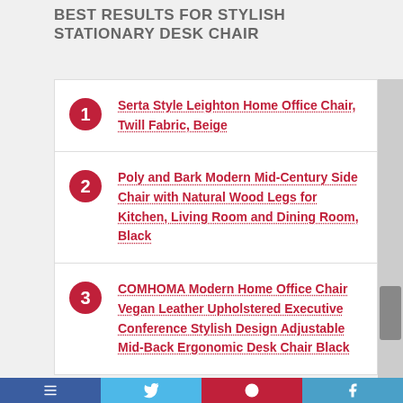BEST RESULTS FOR STYLISH STATIONARY DESK CHAIR
Serta Style Leighton Home Office Chair, Twill Fabric, Beige
Poly and Bark Modern Mid-Century Side Chair with Natural Wood Legs for Kitchen, Living Room and Dining Room, Black
COMHOMA Modern Home Office Chair Vegan Leather Upholstered Executive Conference Stylish Design Adjustable Mid-Back Ergonomic Desk Chair Black